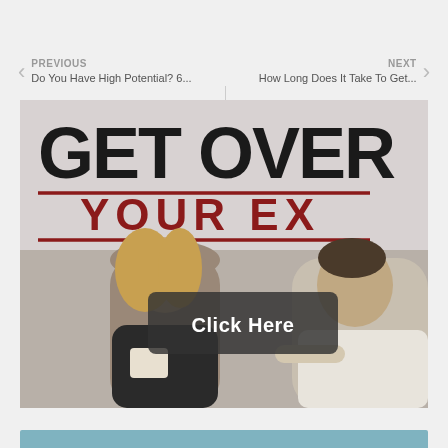PREVIOUS | Do You Have High Potential? 6... | NEXT | How Long Does It Take To Get...
[Figure (illustration): Advertisement image with bold text 'GET OVER YOUR EX' at top with red horizontal lines, and two people (woman with coffee cup on left, man pointing on right) in the lower portion. A dark semi-transparent button overlay reads 'Click Here'.]
[Figure (illustration): Partial bottom bar/banner in teal/blue color at the very bottom of the page.]